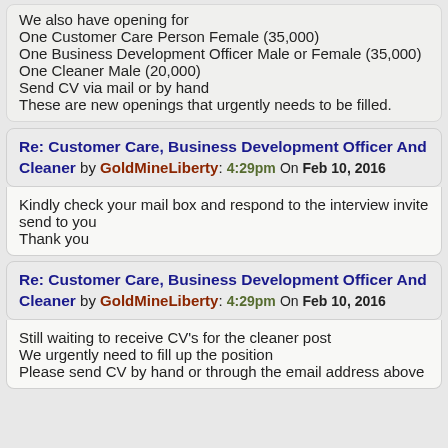We also have opening for
One Customer Care Person Female (35,000)
One Business Development Officer Male or Female (35,000)
One Cleaner Male (20,000)
Send CV via mail or by hand
These are new openings that urgently needs to be filled.
Re: Customer Care, Business Development Officer And Cleaner by GoldMineLiberty: 4:29pm On Feb 10, 2016
Kindly check your mail box and respond to the interview invite send to you
Thank you
Re: Customer Care, Business Development Officer And Cleaner by GoldMineLiberty: 4:29pm On Feb 10, 2016
Still waiting to receive CV's for the cleaner post
We urgently need to fill up the position
Please send CV by hand or through the email address above